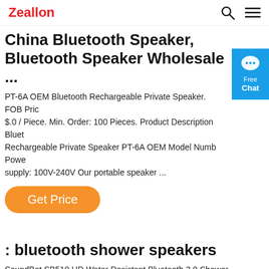Zealkon [search icon] [menu icon]
China Bluetooth Speaker, Bluetooth Speaker Wholesale ...
PT-6A OEM Bluetooth Rechargeable Private Speaker. FOB Price: $.0 / Piece. Min. Order: 100 Pieces. Product Description Bluetooth Rechargeable Private Speaker PT-6A OEM Model Numb Power supply: 100V-240V Our portable speaker ...
[Figure (other): Blue chat widget with speech bubble icon and text 'Free Chat']
Get Price
: bluetooth shower speakers
SoundBot SB510 HD Water Resistant Bluetooth 3.0 Shower Speaker, Handsfree Portable Speakerphone with Built-in Mic, 6hrs of playtime, Control Buttons and Dedicated Suction Cup (Blue) 4.3 out of 5 stars. 8,236. $14.99. $14. . 99. 15% ...